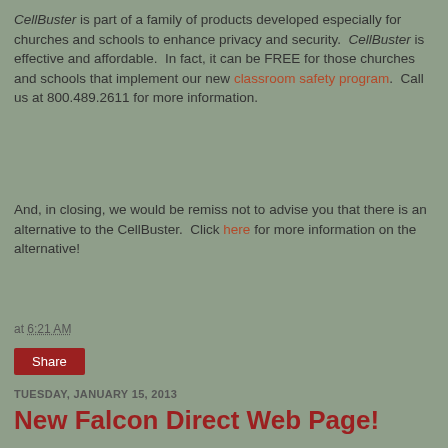CellBuster is part of a family of products developed especially for churches and schools to enhance privacy and security. CellBuster is effective and affordable. In fact, it can be FREE for those churches and schools that implement our new classroom safety program. Call us at 800.489.2611 for more information.
And, in closing, we would be remiss not to advise you that there is an alternative to the CellBuster. Click here for more information on the alternative!
at 6:21 AM
Share
TUESDAY, JANUARY 15, 2013
New Falcon Direct Web Page!